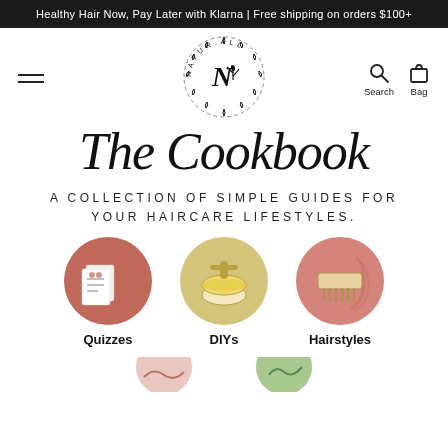Healthy Hair Now, Pay Later with Klarna | Free shipping on orders $100+
[Figure (logo): NATUR.ALL circular botanical logo with N letter and plant sprig]
The Cookbook
A COLLECTION OF SIMPLE GUIDES FOR YOUR HAIRCARE LIFESTYLES.
[Figure (illustration): Three circular category icons: Quizzes (papers/documents on pink-red background), DIYs (faucet/bowl on yellow background), Hairstyles (comb on pink background)]